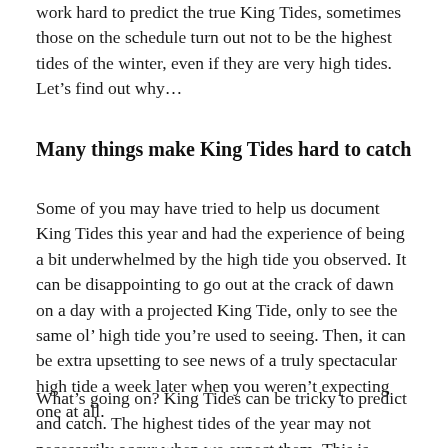work hard to predict the true King Tides, sometimes those on the schedule turn out not to be the highest tides of the winter, even if they are very high tides. Let’s find out why…
Many things make King Tides hard to catch
Some of you may have tried to help us document King Tides this year and had the experience of being a bit underwhelmed by the high tide you observed. It can be disappointing to go out at the crack of dawn on a day with a projected King Tide, only to see the same ol’ high tide you’re used to seeing. Then, it can be extra upsetting to see news of a truly spectacular high tide a week later when you weren’t expecting one at all.
What’s going on? King Tides can be tricky to predict and catch. The highest tides of the year may not necessarily occur when we expect them. This is